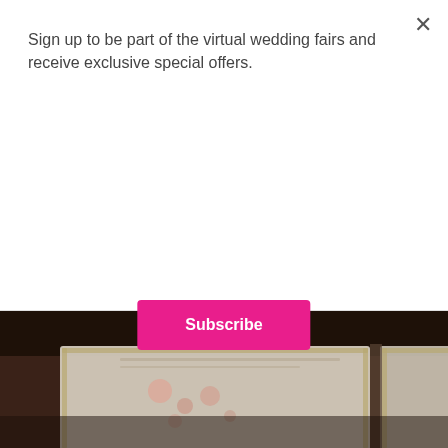Sign up to be part of the virtual wedding fairs and receive exclusive special offers.
Subscribe
[Figure (photo): Blurred photo of an open book or stationery items with decorative border, placed on a dark wooden surface. The image shows what appears to be wedding stationery or invitations with floral decorations, photographed close up with shallow depth of field.]